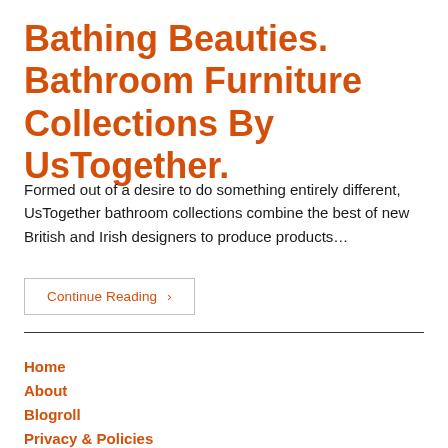Bathing Beauties. Bathroom Furniture Collections By UsTogether.
Formed out of a desire to do something entirely different, UsTogether bathroom collections combine the best of new British and Irish designers to produce products…
Continue Reading ›
Home
About
Blogroll
Privacy & Policies